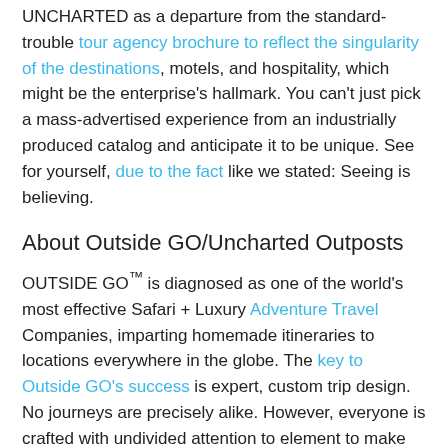UNCHARTED as a departure from the standard-trouble tour agency brochure to reflect the singularity of the destinations, motels, and hospitality, which might be the enterprise's hallmark. You can't just pick a mass-advertised experience from an industrially produced catalog and anticipate it to be unique. See for yourself, due to the fact like we stated: Seeing is believing.
About Outside GO/Uncharted Outposts
OUTSIDE GO™ is diagnosed as one of the world's most effective Safari + Luxury Adventure Travel Companies, imparting homemade itineraries to locations everywhere in the globe. The key to Outside GO's success is expert, custom trip design. No journeys are precisely alike. However, everyone is crafted with undivided attention to element to make every adventure among superb and genuine adventures through the day and amazing luxury by